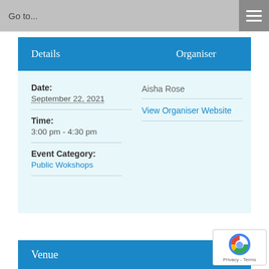Go to...
Details   Organiser
Date:
September 22, 2021
Aisha Rose
View Organiser Website
Time:
3:00 pm - 4:30 pm
Event Category:
Public Wokshops
Venue